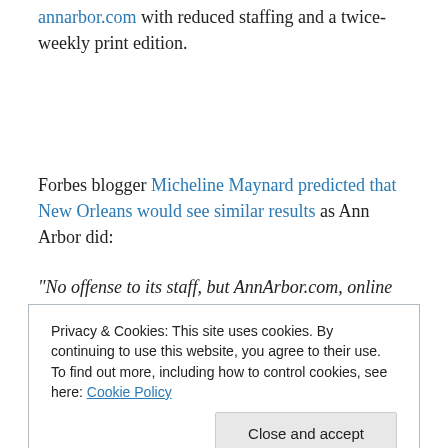annarbor.com with reduced staffing and a twice-weekly print edition.
Forbes blogger Micheline Maynard predicted that New Orleans would see similar results as Ann Arbor did:
“No offense to its staff, but AnnArbor.com, online at least, is a constantly updated blog, which gives equal play to
Privacy & Cookies: This site uses cookies. By continuing to use this website, you agree to their use. To find out more, including how to control cookies, see here: Cookie Policy
transformation a “forced march to digital.”